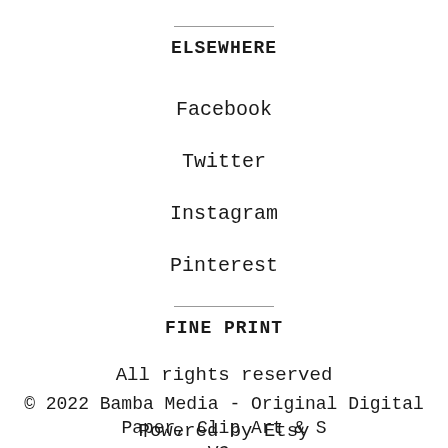ELSEWHERE
Facebook
Twitter
Instagram
Pinterest
FINE PRINT
All rights reserved
© 2022 Bamba Media - Original Digital Paper, Clip Art & SVGs
Powered by Etsy